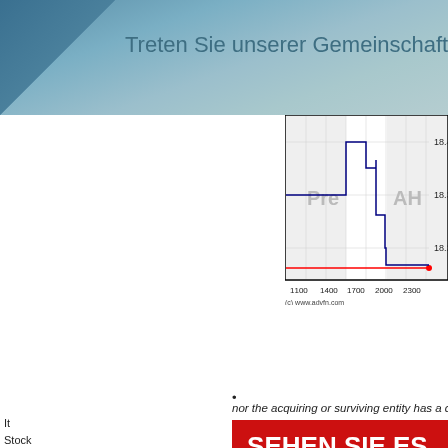Treten Sie unserer Gemeinschaft bei
[Figure (continuous-plot): Stock price line chart showing intraday trading data with Pre-market and After-Hours (AH) shaded regions. Y-axis shows values 18.2, 18.3, 18.4. X-axis shows times 1100, 1400, 1700, 2000, 2300. Blue step line and red baseline. Labels: Pre, AH. Source: (c) www.advfn.com]
bullet point
nor the acquiring or surviving entity has a class
SEHEN SIE ES. TAUSCH ES!
Mehrere Aktienkurse auf einer Seite anzeigen
Leicht anpassbare
It
Stock $25.0
fixed
any s